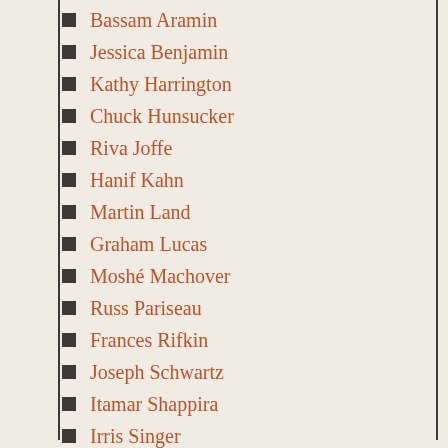Bassam Aramin
Jessica Benjamin
Kathy Harrington
Chuck Hunsucker
Riva Joffe
Hanif Kahn
Martin Land
Graham Lucas
Moshé Machover
Russ Pariseau
Frances Rifkin
Joseph Schwartz
Itamar Shappira
Irris Singer
Daniel Wade